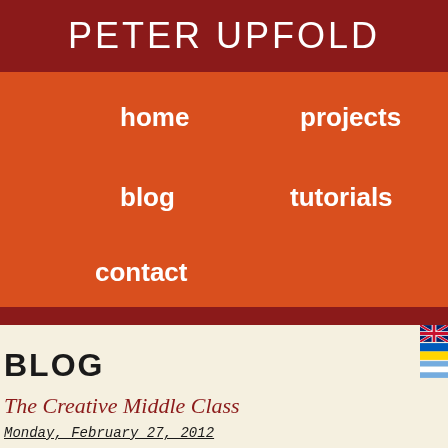PETER UPFOLD
home   projects   blog   tutorials   contact
BLOG
The Creative Middle Class
Monday, February 27, 2012
The recent creative industry pat-
[Figure (photo): Partial photo of a person or object, dark toned image with watermark text]